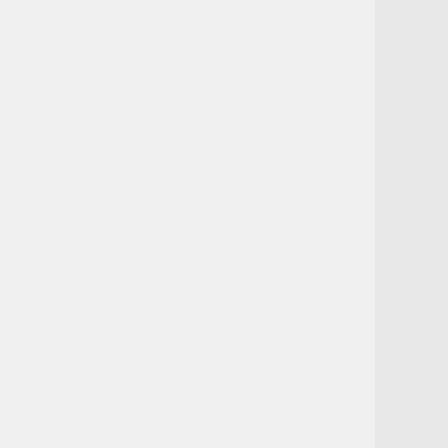ragazze.htm immagini ragazze nude gratis] [http://bloprofeldi.info/lib/dj-di.htm dj di musica electronica in italia] [http://ustall.org/web/stupid-girl.htm stupid girl] [http://chaba.info/voss-johann/ voss, johann heinrich] [http://...